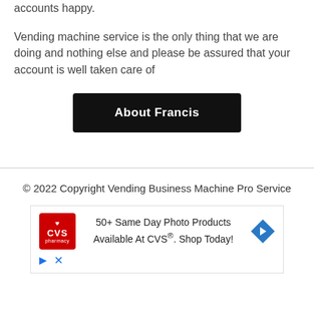accounts happy.
Vending machine service is the only thing that we are doing and nothing else and please be assured that your account is well taken care of
[Figure (other): Black button with white bold text reading 'About Francis']
© 2022 Copyright Vending Business Machine Pro Service
[Figure (other): CVS pharmacy advertisement: '50+ Same Day Photo Products Available At CVS®. Shop Today!' with CVS red logo and blue navigation arrow icon]